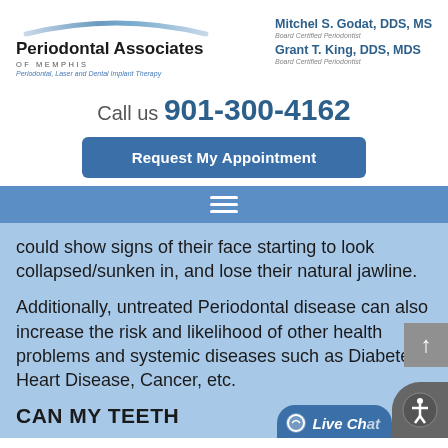[Figure (logo): Periodontal Associates of Memphis logo with arch graphic above text]
Mitchel S. Godat, DDS, MS
Board Certified Periodontist
Grant T. King, DDS, MDS
Board Certified Periodontist
Call us 901-300-4162
Request My Appointment
could show signs of their face starting to look collapsed/sunken in, and lose their natural jawline.
Additionally, untreated Periodontal disease can also increase the risk and likelihood of other health problems and systemic diseases such as Diabetes, Heart Disease, Cancer, etc.
CAN MY TEETH